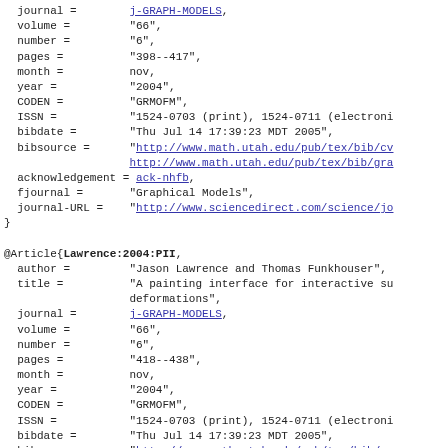BibTeX bibliography entries showing journal article records for j-GRAPH-MODELS, including fields: journal, volume, number, pages, month, year, CODEN, ISSN, bibdate, bibsource, acknowledgement, fjournal, journal-URL. Entries: one closing brace entry and @Article{Lawrence:2004:PII with author Jason Lawrence and Thomas Funkhouser, title A painting interface for interactive surface deformations.